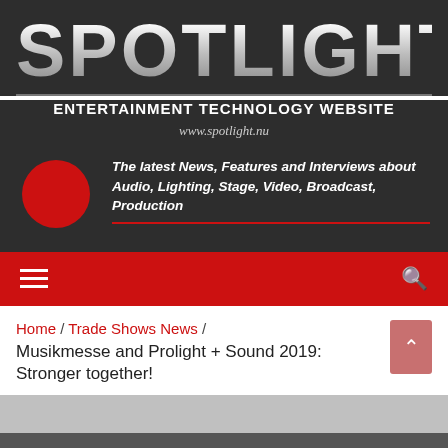SPOTLIGHT
ENTERTAINMENT TECHNOLOGY WEBSITE
www.spotlight.nu
The latest News, Features and Interviews about Audio, Lighting, Stage, Video, Broadcast, Production
[Figure (logo): Red circle logo element on dark background]
Home / Trade Shows News / Musikmesse and Prolight + Sound 2019: Stronger together!
Musikmesse and Prolight + Sound 2019: Stronger together!